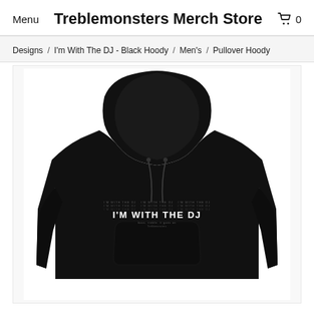Menu   Treblemonsters Merch Store   🛒 0
Designs / I'm With The DJ - Black Hoody / Men's / Pullover Hoody
[Figure (photo): Black pullover hoodie with 'I'M WITH THE DJ' text printed on the front chest area, displayed against a white background.]